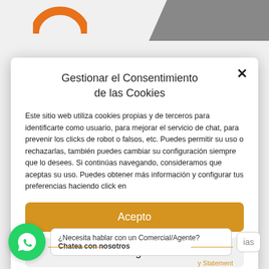Gestionar el Consentimiento de las Cookies
Este sitio web utiliza cookies propias y de terceros para identificarte como usuario, para mejorar el servicio de chat, para prevenir los clicks de robot o falsos, etc. Puedes permitir su uso o rechazarlas, también puedes cambiar su configuración siempre que lo desees. Si continúas navegando, consideramos que aceptas su uso. Puedes obtener más información y configurar tus preferencias haciendo click en
Acepto
Denegado
¿Necesita hablar con un Comercial/Agente?
Chatea con nosotros
y Statement